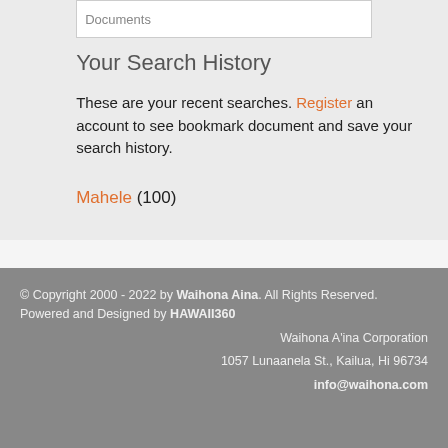[Figure (screenshot): Search box with placeholder text 'Documents']
Your Search History
These are your recent searches. Register an account to see bookmark document and save your search history.
Mahele (100)
© Copyright 2000 - 2022 by Waihona Aina. All Rights Reserved. Powered and Designed by HAWAII360 Waihona A'ina Corporation 1057 Lunaanela St., Kailua, Hi 96734 info@waihona.com